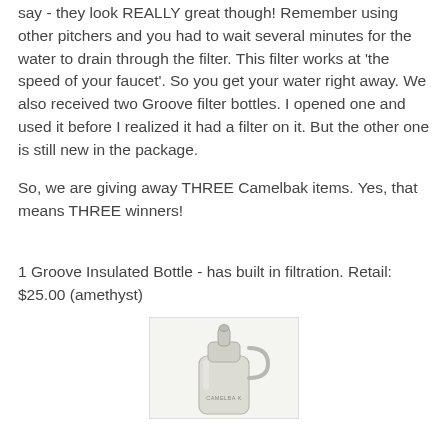say - they look REALLY great though!  Remember using other pitchers and you had to wait several minutes for the water to drain through the filter.  This filter works at 'the speed of your faucet'.  So you get your water right away.  We also received two Groove filter bottles.  I opened one and used it before I realized it had a filter on it.  But the other one is still new in the package.
So, we are giving away THREE Camelbak items.  Yes, that means THREE winners!
1 Groove Insulated Bottle - has built in filtration.  Retail: $25.00 (amethyst)
[Figure (photo): Photo of a CamelBak Groove Insulated Bottle in amethyst/light grey color, showing the top portion of the bottle with the bite valve and handle visible.]